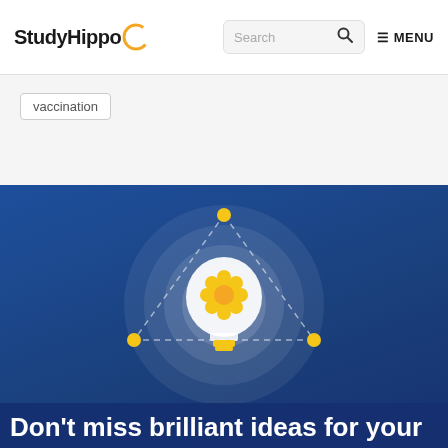StudyHippo  Search  MENU
vaccination
[Figure (illustration): Illustrated light bulb with a glowing yellow flower/gear shape inside, surrounded by concentric circles and a dashed triangle with yellow dots at the vertices, on a dark blue background]
Don't miss brilliant ideas for your